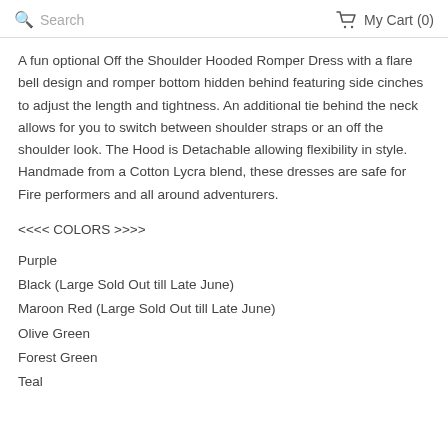Search   My Cart (0)
A fun optional Off the Shoulder Hooded Romper Dress with a flare bell design and romper bottom hidden behind featuring side cinches to adjust the length and tightness. An additional tie behind the neck allows for you to switch between shoulder straps or an off the shoulder look. The Hood is Detachable allowing flexibility in style. Handmade from a Cotton Lycra blend, these dresses are safe for Fire performers and all around adventurers.
<<<< COLORS >>>>
Purple
Black (Large Sold Out till Late June)
Maroon Red (Large Sold Out till Late June)
Olive Green
Forest Green
Teal